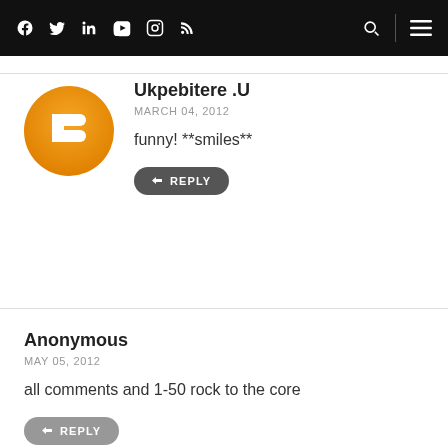Social media nav icons: Facebook, Twitter, LinkedIn, YouTube, Instagram, RSS; Search icon, menu icon
Ukpebitere .U
MARCH 04, 2012
funny! **smiles**
REPLY
Anonymous
MAY 05, 2012
all comments and 1-50 rock to the core
REPLY